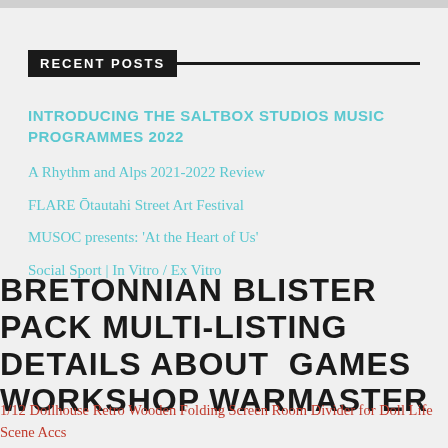RECENT POSTS
INTRODUCING THE SALTBOX STUDIOS MUSIC PROGRAMMES 2022
A Rhythm and Alps 2021-2022 Review
FLARE Ōtautahi Street Art Festival
MUSOC presents: ‘At the Heart of Us’
Social Sport | In Vitro / Ex Vitro
BRETONNIAN BLISTER PACK MULTI-LISTING DETAILS ABOUT  GAMES WORKSHOP WARMASTER
1/12 Dollhouse Retro Wooden Folding Screen Room Divider for Doll Life Scene Accs
NEW Mashin Sentai Kiramager DX Kiramei Base & Weapon 02